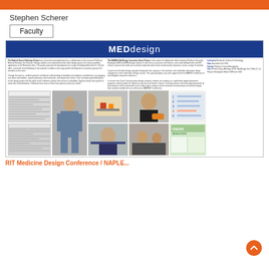MEDdesign
Stephen Scherer
Faculty
[Figure (screenshot): MEDdesign project poster page showing header, text columns with project description, contributor info, and a grid of photos including forms, students working on prosthetics, and infographic materials]
RIT Medicine Design Conference / NAPLE...